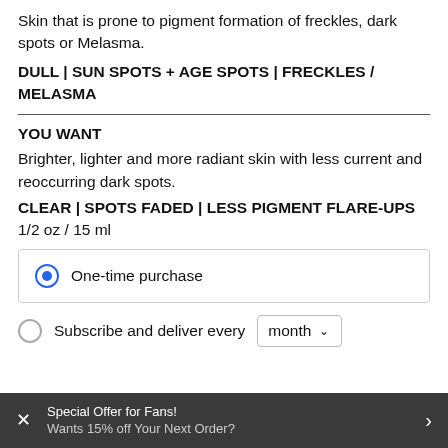Skin that is prone to pigment formation of freckles, dark spots or Melasma.
DULL | SUN SPOTS + AGE SPOTS | FRECKLES / MELASMA
YOU WANT
Brighter, lighter and more radiant skin with less current and reoccurring dark spots.
CLEAR | SPOTS FADED | LESS PIGMENT FLARE-UPS
1/2 oz / 15 ml
One-time purchase
Subscribe and deliver every month
You will get a 10% discount on every recurring order. Regular price for one-time sale orders.
Special Offer for Fans! Wants 15% off Your Next Order?